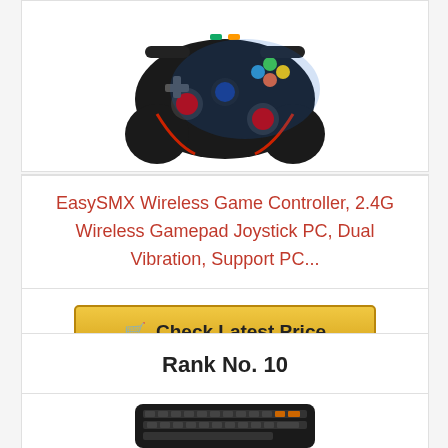[Figure (photo): Photo of EasySMX wireless game controller, black with red accents and colorful buttons, shown from front angle]
EasySMX Wireless Game Controller, 2.4G Wireless Gamepad Joystick PC, Dual Vibration, Support PC...
Check Latest Price
Rank No. 10
[Figure (photo): Photo of a small wireless mini keyboard with backlight, shown from above]